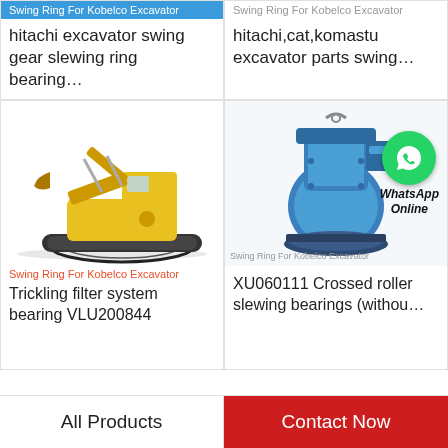[Figure (screenshot): Product listing screenshot showing excavator swing ring bearing products in a 2-column grid layout with images, category tags, product titles, and footer navigation buttons 'All Products' and 'Contact Now']
Swing Ring For Kobelco Excavator
hitachi excavator swing gear slewing ring bearing…
Swing Ring For Kobelco Excavator
hitachi,cat,komastu excavator parts swing…
Swing Ring For Kobelco Excavator
Trickling filter system bearing VLU200844
Swing Ring For Kobelco Excavator
XU060111 Crossed roller slewing bearings (withou…
WhatsApp Online
All Products
Contact Now